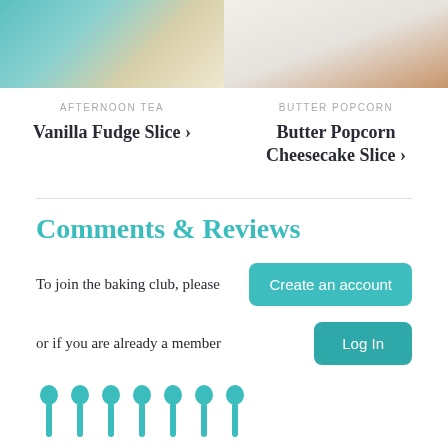[Figure (photo): Two food photos side by side at top: left shows vanilla fudge slice on teal/cream background, right shows butter popcorn cheesecake slice on white marble surface with honey drizzle]
AFTERNOON TEA
Vanilla Fudge Slice ›
BUTTER POPCORN
Butter Popcorn Cheesecake Slice ›
Comments & Reviews
To join the baking club, please
Create an account
or if you are already a member
Log In
[Figure (illustration): Seven teal spoon icons in a row]